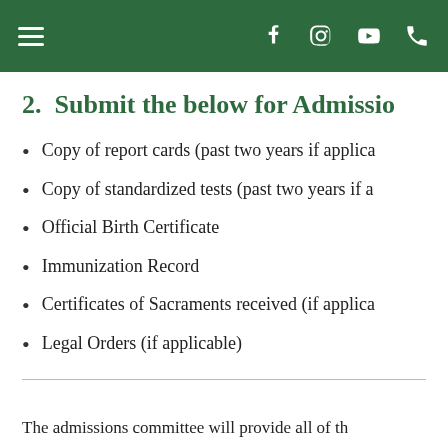Navigation bar with hamburger menu, Facebook, Instagram, YouTube, and phone icons
2.  Submit the below for Admissio
Copy of report cards (past two years if applica
Copy of standardized tests (past two years if a
Official Birth Certificate
Immunization Record
Certificates of Sacraments received (if applica
Legal Orders (if applicable)
The admissions committee will provide all of th